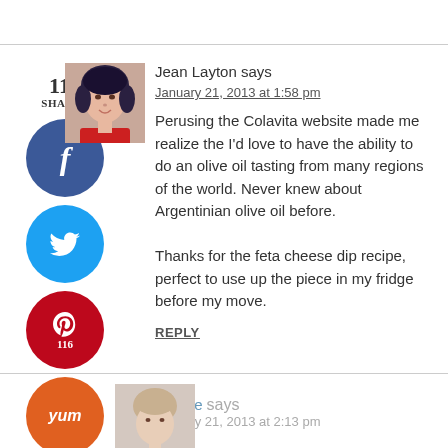[Figure (photo): Avatar photo of Jean Layton, woman with dark hair]
Jean Layton says
January 21, 2013 at 1:58 pm
116 SHARES
[Figure (infographic): Social share buttons: Facebook (blue circle), Twitter (cyan circle), Pinterest with count 116 (red circle), Yum (orange circle)]
Perusing the Colavita website made me realize the I'd love to have the ability to do an olive oil tasting from many regions of the world. Never knew about Argentinian olive oil before.

Thanks for the feta cheese dip recipe, perfect to use up the piece in my fridge before my move.
REPLY
[Figure (photo): Avatar photo of second commenter, partially visible]
Connie says
January 21, 2013 at 2:13 pm